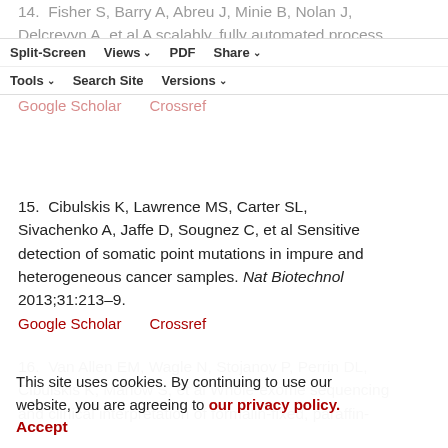14. Fisher S, Barry A, Abreu J, Minie B, Nolan J, Delcrevyn A, et al A scalably, fully automated process for construction of sequence-ready human exome targeted capture libraries. Genome Biol 2011;12:R1.
15. Cibulskis K, Lawrence MS, Carter SL, Sivachenko A, Jaffe D, Sougnez C, et al Sensitive detection of somatic point mutations in impure and heterogeneous cancer samples. Nat Biotechnol 2013;31:213–9.
16. Van Allen EM, Wagle N, Stojanov P, Perrin DL, Cibulskis K, Marlow S, et al Whole-exome sequencing and clinical interpretation of formalin-fixed, paraffin-embedded tumor samples to guide precision cancer medicine. Nat Med 2014;20:682–8.
This site uses cookies. By continuing to use our website, you are agreeing to our privacy policy. Accept